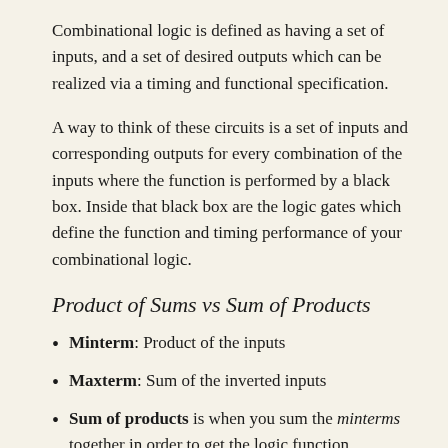Combinational logic is defined as having a set of inputs, and a set of desired outputs which can be realized via a timing and functional specification.
A way to think of these circuits is a set of inputs and corresponding outputs for every combination of the inputs where the function is performed by a black box. Inside that black box are the logic gates which define the function and timing performance of your combinational logic.
Product of Sums vs Sum of Products
Minterm: Product of the inputs
Maxterm: Sum of the inverted inputs
Sum of products is when you sum the minterms together in order to get the logic function